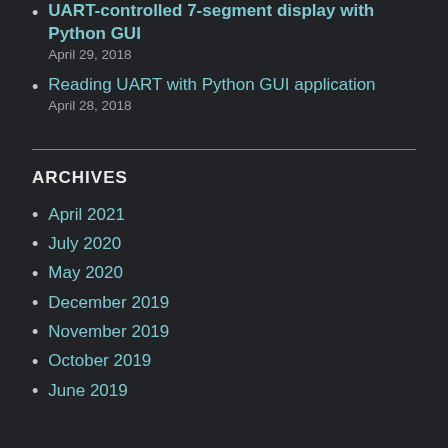UART-controlled 7-segment display with Python GUI
April 29, 2018
Reading UART with Python GUI application
April 28, 2018
ARCHIVES
April 2021
July 2020
May 2020
December 2019
November 2019
October 2019
June 2019